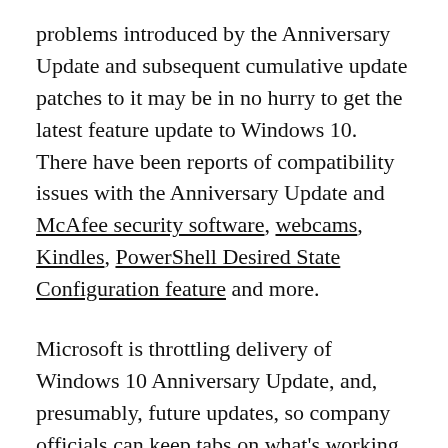problems introduced by the Anniversary Update and subsequent cumulative update patches to it may be in no hurry to get the latest feature update to Windows 10. There have been reports of compatibility issues with the Anniversary Update and McAfee security software, webcams, Kindles, PowerShell Desired State Configuration feature and more.
Microsoft is throttling delivery of Windows 10 Anniversary Update, and, presumably, future updates, so company officials can keep tabs on what's working and not as the update rolls out to the many, many permutations and combinations of Windows machines where it's qualified to run. This is part of the reason why Microsoft is obsessed